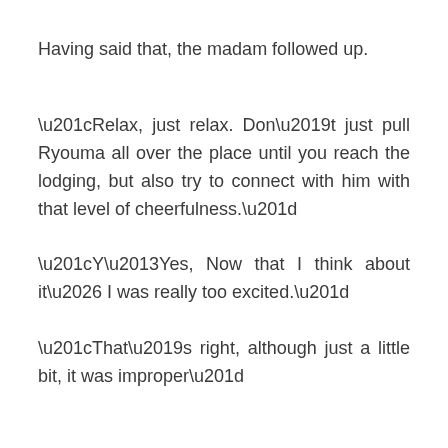Having said that, the madam followed up.
“Relax, just relax. Don’t just pull Ryouma all over the place until you reach the lodging, but also try to connect with him with that level of cheerfulness.”
“Y–Yes, Now that I think about it… I was really too excited.”
“That’s right, although just a little bit, it was improper”